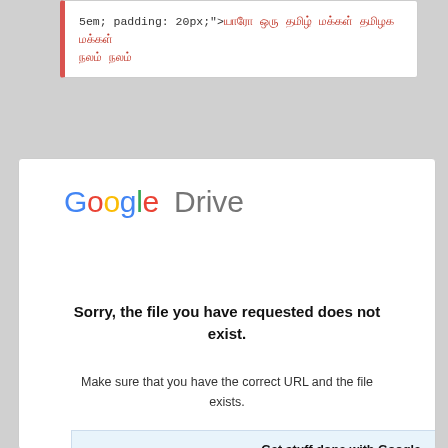5em; padding: 20px;">யாரோ ஒரு தமிழ் மக்கள் தமிழக மக்கள் நலம்
[Figure (screenshot): Google Drive logo with colorful lettering]
Sorry, the file you have requested does not exist.
Make sure that you have the correct URL and the file exists.
Get stuff done with Google
Apps in Google Drive make it easy to create and share online documents, spreadsheets, presentations and more